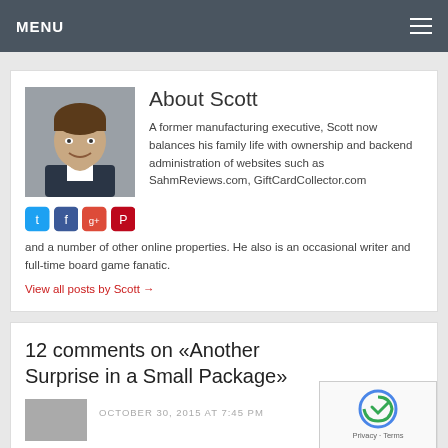MENU
About Scott
[Figure (photo): Headshot photo of Scott, a middle-aged man in a suit, smiling]
[Figure (infographic): Social media icons: Twitter, Facebook, Google+, Pinterest]
A former manufacturing executive, Scott now balances his family life with ownership and backend administration of websites such as SahmReviews.com, GiftCardCollector.com and a number of other online properties. He also is an occasional writer and full-time board game fanatic.
View all posts by Scott →
12 comments on «Another Surprise in a Small Package»
OCTOBER 30, 2015 AT 7:45 PM